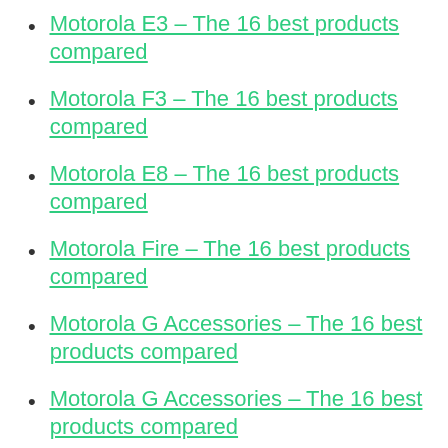Motorola E3 – The 16 best products compared
Motorola F3 – The 16 best products compared
Motorola E8 – The 16 best products compared
Motorola Fire – The 16 best products compared
Motorola G Accessories – The 16 best products compared
Motorola G Accessories – The 16 best products compared
Motorola G Phone Cases – The 16 best